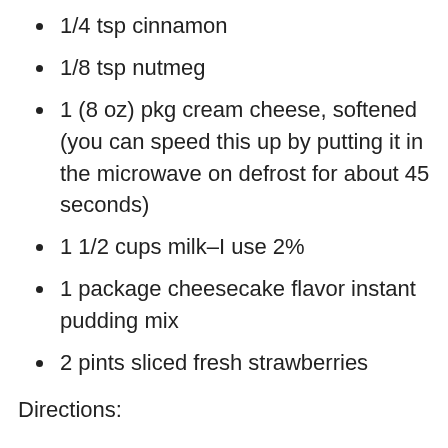1/4 tsp cinnamon
1/8 tsp nutmeg
1 (8 oz) pkg cream cheese, softened (you can speed this up by putting it in the microwave on defrost for about 45 seconds)
1 1/2 cups milk–I use 2%
1 package cheesecake flavor instant pudding mix
2 pints sliced fresh strawberries
Directions: